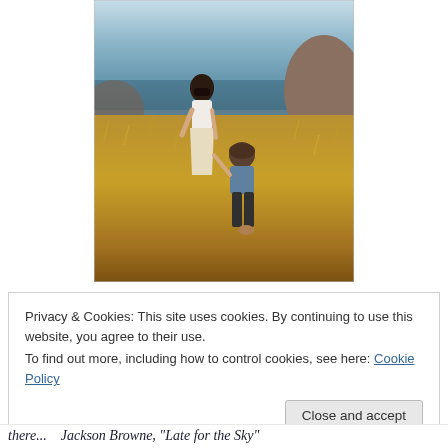[Figure (photo): A woman and a young child walking through golden tall grass toward a rocky coastline and ocean, viewed from behind. The woman wears a white top and light skirt; the child wears a blue shirt. Rocky cliffs and blue water are visible in the background.]
Privacy & Cookies: This site uses cookies. By continuing to use this website, you agree to their use.
To find out more, including how to control cookies, see here: Cookie Policy
Close and accept
there...   Jackson Browne, "Late for the Sky"